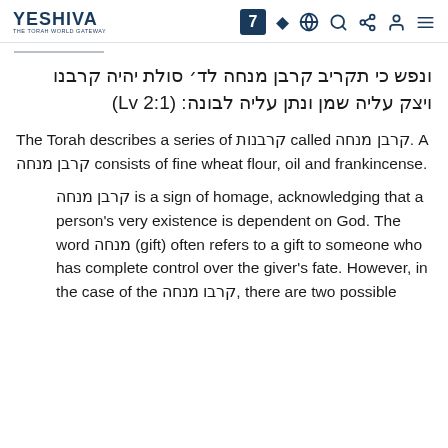YESHIVA — THE TORAH WORLD GATEWAY (with icons: 7, globe, search, share, user, menu)
ונפש כי תקריב קרבן מנחה לד׳ סולת יהיה קרבנו ויצק עליה שמן ונתן עליה לבונה: (Lv 2:1)
The Torah describes a series of קרבנות called קרבן מנחה. A קרבן מנחה consists of fine wheat flour, oil and frankincense.
קרבן מנחה is a sign of homage, acknowledging that a person's very existence is dependent on God. The word מנחה (gift) often refers to a gift to someone who has complete control over the giver's fate. However, in the case of the קרבו מנחה, there are two possible